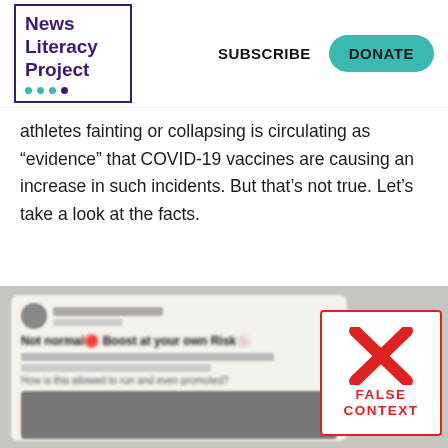News Literacy Project | SUBSCRIBE | DONATE
athletes fainting or collapsing is circulating as “evidence” that COVID-19 vaccines are causing an increase in such incidents. But that’s not true. Let’s take a look at the facts.
[Figure (screenshot): Blurred screenshot of a social media tweet overlaid with a red 'FALSE CONTEXT' badge featuring a large red X mark]